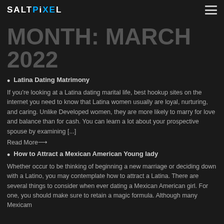SALTPIXEL
MONTH: MARCH 2022
Latina Dating Matrimony
If you're looking at a Latina dating marital life, best hookup sites on the internet you need to know that Latina women usually are loyal, nurturing, and caring. Unlike Developed women, they are more likely to marry for love and balance than for cash. You can learn a lot about your prospective spouse by examining [...]
Read More→
How to Attract a Mexican American Young lady
Whether occur to be thinking of beginning a new marriage or deciding down with a Latino, you may contemplate how to attract a Latina. There are several things to consider when ever dating a Mexican American girl. For one, you should make sure to retain a magic formula. Although many Mexicam